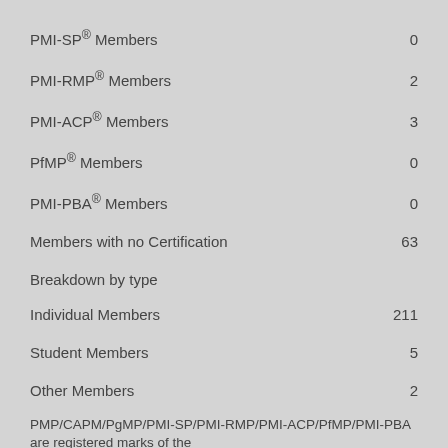PMI-SP® Members    0
PMI-RMP® Members    2
PMI-ACP® Members    3
PfMP® Members    0
PMI-PBA® Members    0
Members with no Certification    63
Breakdown by type
Individual Members    211
Student Members    5
Other Members    2
PMP/CAPM/PgMP/PMI-SP/PMI-RMP/PMI-ACP/PfMP/PMI-PBA are registered marks of the